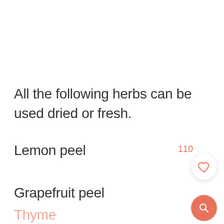All the following herbs can be used dried or fresh.
Lemon peel
Grapefruit peel
Thyme